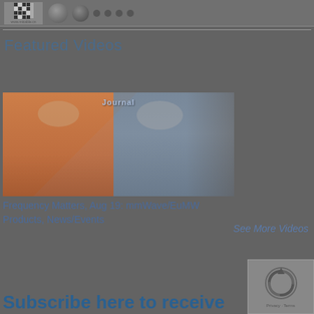[Figure (screenshot): Top banner with website logo showing QR code and www.micable.cn text, followed by product images including circular connectors and small dots/components on a dark background]
Featured Videos
[Figure (photo): Video thumbnail showing two people: on the left an older bald man wearing an orange shirt, on the right a man in a light blue shirt, with a bookshelf visible behind the right person and the text 'Journal' overlaid at the top center]
Frequency Matters, Aug 19: mmWave/EuMW Products, News/Events
See More Videos
Subscribe here to receive